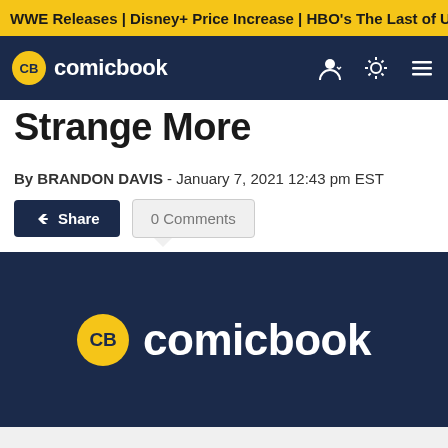WWE Releases | Disney+ Price Increase | HBO's The Last of U
[Figure (logo): ComicBook.com navigation bar with CB logo in yellow circle and white text 'comicbook', plus user/theme/menu icons on the right]
Strange More (partial, cut off at top)
By BRANDON DAVIS - January 7, 2021 12:43 pm EST
[Figure (other): Share button (dark blue) and 0 Comments button (light gray) with speech bubble tail]
[Figure (logo): ComicBook.com logo on dark navy blue background — CB in yellow circle followed by white text 'comicbook']